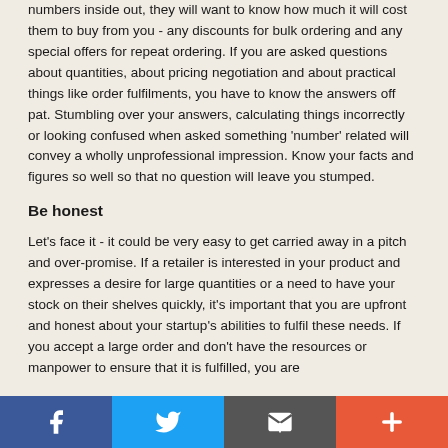numbers inside out, they will want to know how much it will cost them to buy from you - any discounts for bulk ordering and any special offers for repeat ordering. If you are asked questions about quantities, about pricing negotiation and about practical things like order fulfilments, you have to know the answers off pat. Stumbling over your answers, calculating things incorrectly or looking confused when asked something 'number' related will convey a wholly unprofessional impression. Know your facts and figures so well so that no question will leave you stumped.
Be honest
Let's face it - it could be very easy to get carried away in a pitch and over-promise. If a retailer is interested in your product and expresses a desire for large quantities or a need to have your stock on their shelves quickly, it's important that you are upfront and honest about your startup's abilities to fulfil these needs. If you accept a large order and don't have the resources or manpower to ensure that it is fulfilled, you are
[Figure (infographic): Social sharing footer bar with four buttons: Facebook (blue), Twitter (light blue), Email/share (dark grey), and Plus/more (orange-red)]